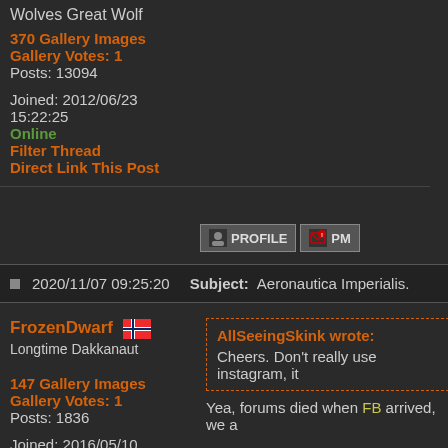Wolves Great Wolf
370 Gallery Images
Gallery Votes: 1
Posts: 13094
Joined: 2012/06/23
15:22:25
Online
Filter Thread
Direct Link This Post
[Figure (screenshot): PROFILE and PM buttons]
2020/11/07 09:25:20   Subject: Aeronautica Imperialis.
FrozenDwarf   Longtime Dakkanaut
AllSeeingSkink wrote:
Cheers. Don't really use instagram, it
147 Gallery Images
Gallery Votes: 1
Posts: 1836
Joined: 2016/05/10
12:06:50
Online
Yea, forums died when FB arrived, we a